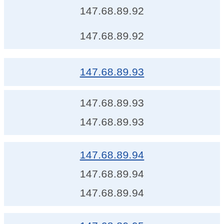147.68.89.92
147.68.89.92
147.68.89.93
147.68.89.93
147.68.89.93
147.68.89.94
147.68.89.94
147.68.89.94
147.68.89.95